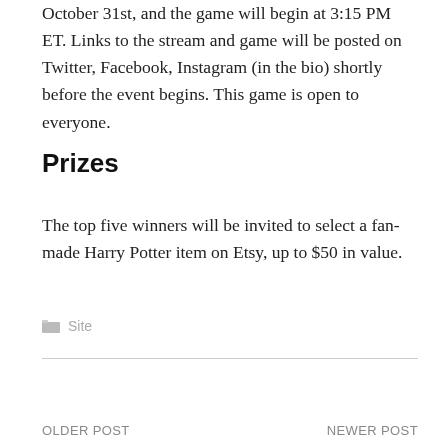October 31st, and the game will begin at 3:15 PM ET. Links to the stream and game will be posted on Twitter, Facebook, Instagram (in the bio) shortly before the event begins. This game is open to everyone.
Prizes
The top five winners will be invited to select a fan-made Harry Potter item on Etsy, up to $50 in value.
Site
OLDER POST    NEWER POST